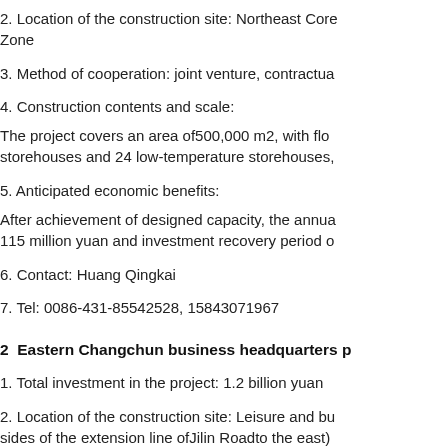2. Location of the construction site: Northeast Core Zone
3. Method of cooperation: joint venture, contractua
4. Construction contents and scale:
The project covers an area of500,000 m2, with flo storehouses and 24 low-temperature storehouses,
5. Anticipated economic benefits:
After achievement of designed capacity, the annua 115 million yuan and investment recovery period o
6. Contact: Huang Qingkai
7. Tel: 0086-431-85542528, 15843071967
2  Eastern Changchun business headquarters p
1. Total investment in the project: 1.2 billion yuan
2. Location of the construction site: Leisure and bu sides of the extension line ofJilin Roadto the east)
3. Method of cooperation: wholly foreign-owned, c